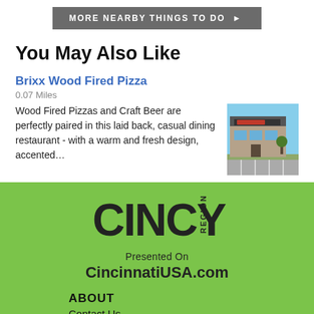MORE NEARBY THINGS TO DO ▶
You May Also Like
Brixx Wood Fired Pizza
0.07 Miles
Wood Fired Pizzas and Craft Beer are perfectly paired in this laid back, casual dining restaurant - with a warm and fresh design, accented…
[Figure (photo): Exterior photo of Brixx Wood Fired Pizza restaurant building]
[Figure (logo): CINCY REGION logo in dark text on green background]
Presented On
CincinnatiUSA.com
ABOUT
Contact Us